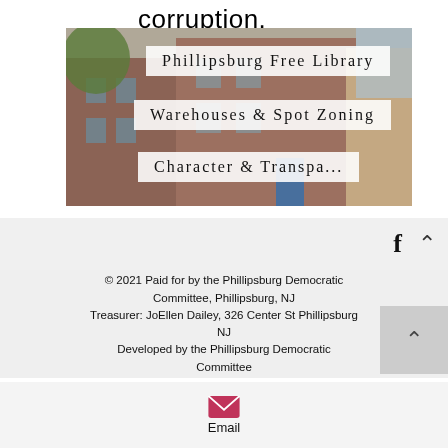corruption.
[Figure (photo): Exterior photo of a brick building (Phillipsburg Free Library area) with overlaid text labels: 'Phillipsburg Free Library', 'Warehouses & Spot Zoning', 'Character & Transpa...']
© 2021 Paid for by the Phillipsburg Democratic Committee, Phillipsburg, NJ
Treasurer: JoEllen Dailey, 326 Center St Phillipsburg NJ
Developed by the Phillipsburg Democratic Committee
[Figure (other): Email icon (pink/maroon envelope SVG) with label 'Email' below]